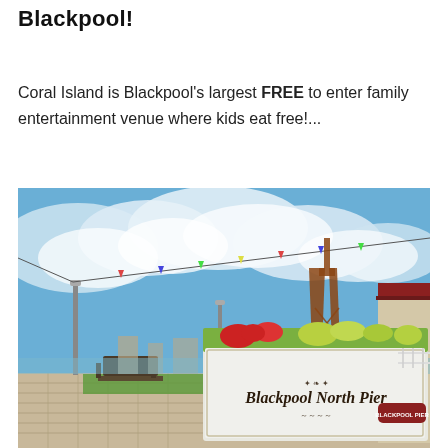Blackpool!
Coral Island is Blackpool’s largest FREE to enter family entertainment venue where kids eat free!...
[Figure (photo): Outdoor photo of Blackpool North Pier on a sunny day with blue sky and white clouds. A large white planter box in the foreground reads 'Blackpool North Pier' with a smaller 'Blackpool Pier' badge. Blackpool Tower is visible in the background. Wooden pier decking, a picnic bench, lamp posts, and bunting are visible.]